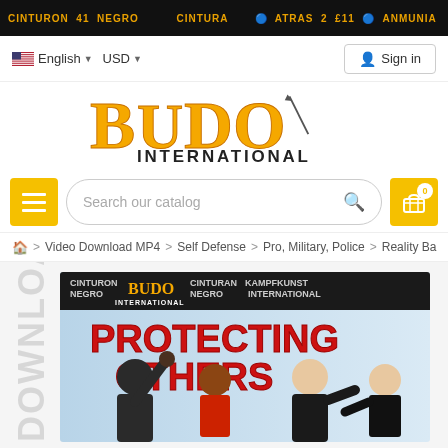CINTURON NEGRO BUDO INTERNATIONAL CINTURON NEGRO KAMPFKUNST INTERNATIONAL - navigation banner
English ▼  USD ▼  Sign in
[Figure (logo): Budo International logo in orange/gold stylized font with sword graphic]
Search our catalog
🏠 > Video Download MP4 > Self Defense > Pro, Military, Police > Reality Ba
[Figure (photo): Product image: 'Protecting Others' self defense DVD/download cover showing people in martial arts stances. Logos: Cinturon Negro, Budo International, Kampfkunst International. Red bold text: PROTECTING OTHERS]